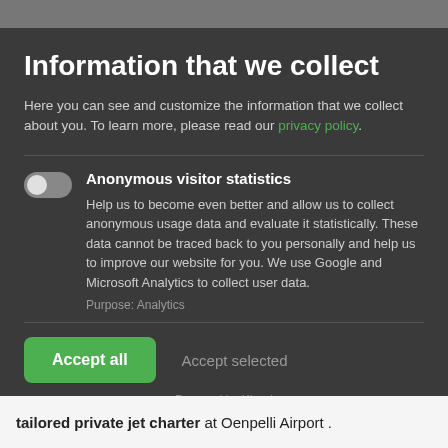Information that we collect
Here you can see and customize the information that we collect about you. To learn more, please read our privacy policy.
Anonymous visitor statistics
Help us to become even better and allow us to collect anonymous usage data and evaluate it statistically. These data cannot be traced back to you personally and help us to improve our website for you. We use Google and Microsoft Analytics to collect user data.
Purpose: Analytics
Accept all
Accept selected
Powered by Klaro!
tailored private jet charter at Oenpelli Airport .